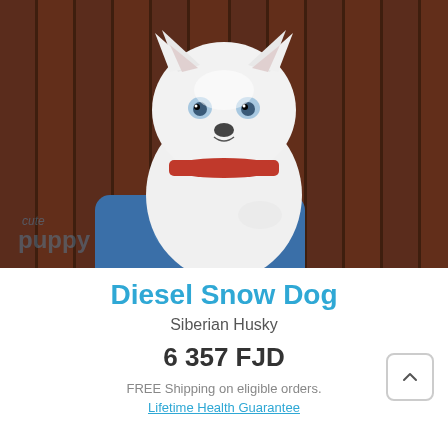[Figure (photo): White Siberian Husky puppy with blue eyes and red collar, being held by a person wearing a blue denim sleeve, against a dark brown wooden background. A watermark reading 'cute puppy' is visible in the lower left.]
Diesel Snow Dog
Siberian Husky
6 357 FJD
FREE Shipping on eligible orders.
Lifetime Health Guarantee